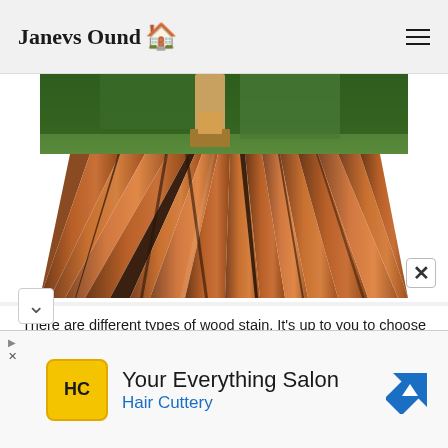Janevs Ound 🏠
[Figure (photo): Close-up photo of wooden deck planks being stained/painted with a brush, warm brown tones, perspective view along the planks with green foliage visible in the background.]
There are different types of wood stain. It's up to you to choose which one suits your project!
Classic stains, colorless or stained, leave the wood visible. They are applied as an undercoat or as a finish.
[Figure (screenshot): Advertisement banner: 'Your Everything Salon' - Hair Cuttery, with yellow HC logo icon and blue navigation arrow icon.]